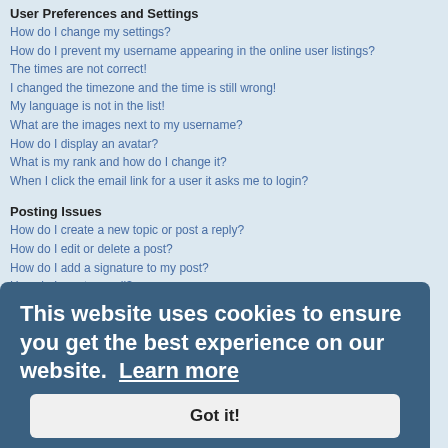User Preferences and Settings
How do I change my settings?
How do I prevent my username appearing in the online user listings?
The times are not correct!
I changed the timezone and the time is still wrong!
My language is not in the list!
What are the images next to my username?
How do I display an avatar?
What is my rank and how do I change it?
When I click the email link for a user it asks me to login?
Posting Issues
How do I create a new topic or post a reply?
How do I edit or delete a post?
How do I add a signature to my post?
How do I create a poll?
Why can't I add more poll options?
How do I edit or delete a poll?
Why can't I access a forum?
Why can't I add attachments?
Why did I receive a warning?
How can I report posts to a moderator?
What is the "Save" button for in topic posting?
Why does my post need to be approved?
How do I bump my topic?
Formatting and Topic Types
What is BBCode?
Can I use HTML?
[Figure (other): Cookie consent overlay: 'This website uses cookies to ensure you get the best experience on our website. Learn more' with a 'Got it!' button.]